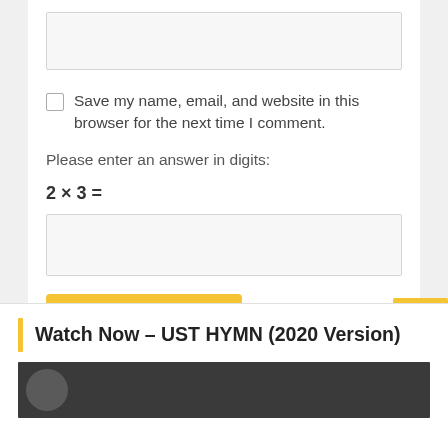[Figure (screenshot): A text input box (website field) with gray background]
Save my name, email, and website in this browser for the next time I comment.
Please enter an answer in digits:
[Figure (screenshot): An empty input box for the math answer]
Post Comment
Watch Now – UST HYMN (2020 Version)
[Figure (screenshot): Video thumbnail preview]